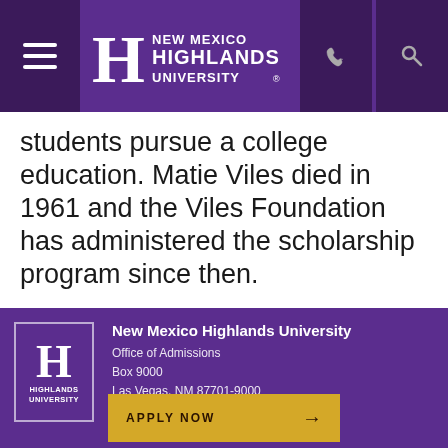New Mexico Highlands University
students pursue a college education. Matie Viles died in 1961 and the Viles Foundation has administered the scholarship program since then.
New Mexico Highlands University
Office of Admissions
Box 9000
Las Vegas, NM 87701-9000
APPLY NOW →